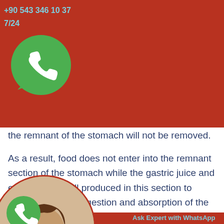+90 543 346 10 37
7/24
the remnant of the stomach will not be removed.
As a result, food does not enter into the remnant section of the stomach while the gastric juice and enzymes are still produced in this section to contribute to the digestion and absorption of the
Ask Expert with WhatsApp
[Figure (photo): WhatsApp logo icon (top, on red background)]
[Figure (photo): Circular portrait photo of a woman with brown hair wearing a blue jacket]
[Figure (logo): WhatsApp icon (bottom left, on red background)]